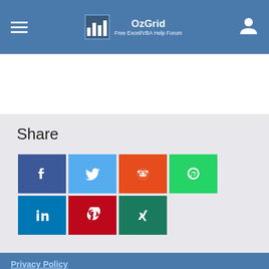OzGrid — Free Excel/VBA Help Forum
Share
[Figure (other): Social share buttons: Facebook, Twitter, Reddit, WhatsApp, LinkedIn, Pinterest, Xing]
Privacy Policy
This site uses cookies. By continuing to browse this site, you are
[Figure (other): Advertisement banner: BitLife Now with GOD MODE]